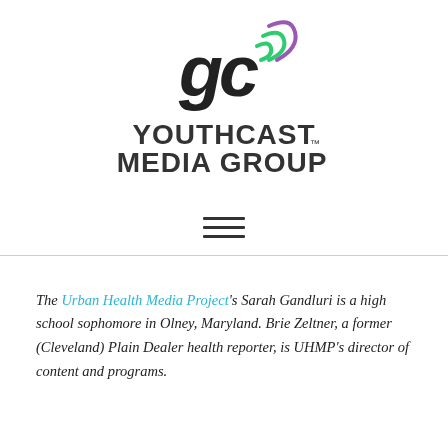[Figure (logo): Youthcast Media Group logo with megaphone graphic and stylized text]
[Figure (other): Hamburger menu icon with three horizontal lines]
The Urban Health Media Project's Sarah Gandluri is a high school sophomore in Olney, Maryland. Brie Zeltner, a former (Cleveland) Plain Dealer health reporter, is UHMP's director of content and programs.